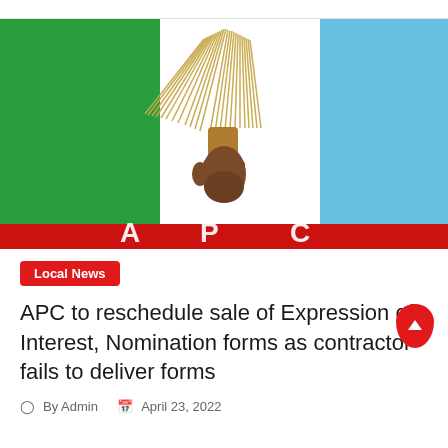[Figure (illustration): APC (All Progressives Congress) party logo image: a hand holding a broom (party symbol) centered against a Nigerian flag-inspired background with green left panel, white center, and light blue right panel, with a red bar at the bottom partially showing white APC text letters.]
Local News
APC to reschedule sale of Expression of Interest, Nomination forms as contractor fails to deliver forms
By Admin  April 23, 2022